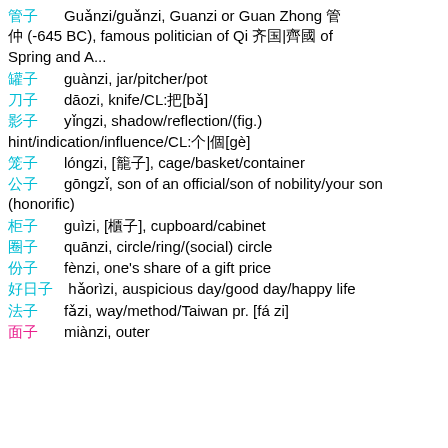管子/guǎnzi, Guanzi or Guan Zhong 管仲 (-645 BC), famous politician of Qi 齐国|齊國 of Spring and A...
罐子 guànzi, jar/pitcher/pot
刀子 dāozi, knife/CL:把[bǎ]
影子 yǐngzi, shadow/reflection/(fig.) hint/indication/influence/CL:个|個[gè]
笼子 lóngzi, [籠子], cage/basket/container
公子 gōngzǐ, son of an official/son of nobility/your son (honorific)
柜子 guìzi, [櫃子], cupboard/cabinet
圈子 quānzi, circle/ring/(social) circle
份子 fènzi, one's share of a gift price
好日子 hǎorìzi, auspicious day/good day/happy life
法子 fǎzi, way/method/Taiwan pr. [fá zi]
面子 miànzi, outer